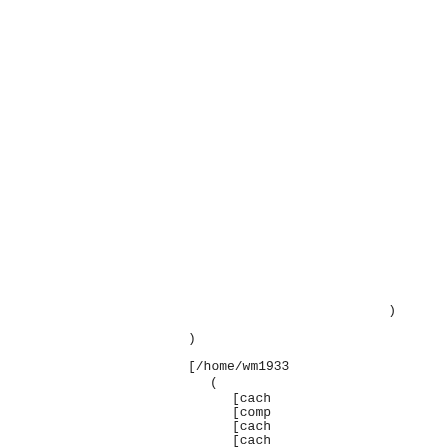)

[/home/wm1933
    (
        [cach
        [comp
        [cach
        [cach
        [temp
        [must
        [has_
        [prop
        (